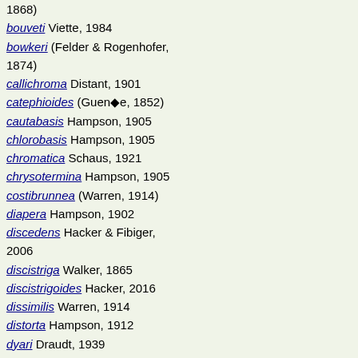1868)
bouveti Viette, 1984
bowkeri (Felder & Rogenhofer, 1874)
callichroma Distant, 1901
catephioides (Guenée, 1852)
cautabasis Hampson, 1905
chlorobasis Hampson, 1905
chromatica Schaus, 1921
chrysotermina Hampson, 1905
costibrunnea (Warren, 1914)
diapera Hampson, 1902
discedens Hacker & Fibiger, 2006
discistriga Walker, 1865
discistrigoides Hacker, 2016
dissimilis Warren, 1914
distorta Hampson, 1912
dyari Draudt, 1939
endoleuca (Hampson, 1918)
flavillatrix (Guenée, 1852)
favillatrixoides Poole, 1989
ferridorsata Hampson, 1905
fulvigrisea Warren, 1914
furcata (Walker, 1865)